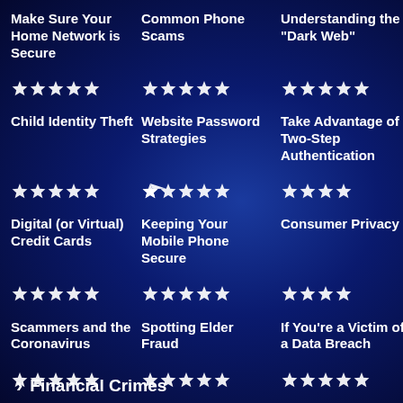Make Sure Your Home Network is Secure
Common Phone Scams
Understanding the "Dark Web"
Child Identity Theft
Website Password Strategies
Take Advantage of Two-Step Authentication
Digital (or Virtual) Credit Cards
Keeping Your Mobile Phone Secure
Consumer Privacy
Scammers and the Coronavirus
Spotting Elder Fraud
If You're a Victim of a Data Breach
Financial Crimes